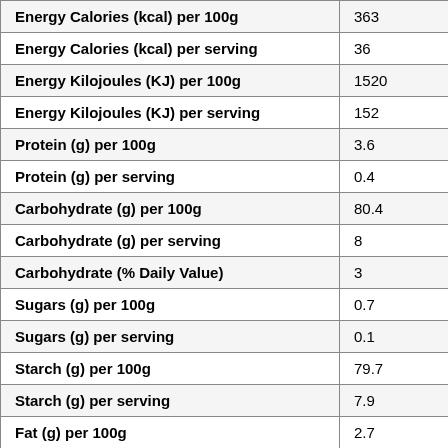| Nutrient | Value |
| --- | --- |
| Energy Calories (kcal) per 100g | 363 |
| Energy Calories (kcal) per serving | 36 |
| Energy Kilojoules (KJ) per 100g | 1520 |
| Energy Kilojoules (KJ) per serving | 152 |
| Protein (g) per 100g | 3.6 |
| Protein (g) per serving | 0.4 |
| Carbohydrate (g) per 100g | 80.4 |
| Carbohydrate (g) per serving | 8 |
| Carbohydrate (% Daily Value) | 3 |
| Sugars (g) per 100g | 0.7 |
| Sugars (g) per serving | 0.1 |
| Starch (g) per 100g | 79.7 |
| Starch (g) per serving | 7.9 |
| Fat (g) per 100g | 2.7 |